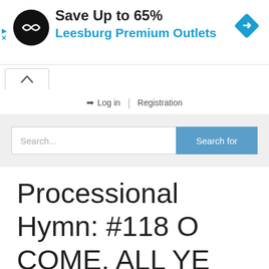[Figure (other): Advertisement banner: black circular logo with double arrow symbol, text 'Save Up to 65%' in bold and 'Leesburg Premium Outlets' in blue, blue diamond navigation icon on right, play/skip and X controls on left edge]
[Figure (other): Collapsed chevron/up-arrow tab button]
➜ Log in  |  Registration
[Figure (other): Search bar with placeholder 'Search...' and blue 'Search for' button]
Processional Hymn: #118 O COME, ALL YE FAITHFUL